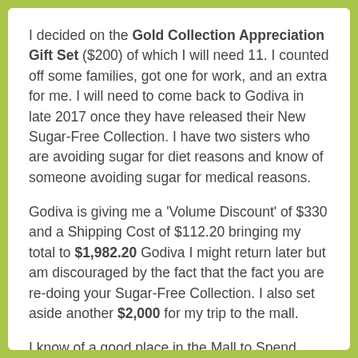I decided on the Gold Collection Appreciation Gift Set ($200) of which I will need 11. I counted off some families, got one for work, and an extra for me. I will need to come back to Godiva in late 2017 once they have released their New Sugar-Free Collection. I have two sisters who are avoiding sugar for diet reasons and know of someone avoiding sugar for medical reasons.
Godiva is giving me a 'Volume Discount' of $330 and a Shipping Cost of $112.20 bringing my total to $1,982.20 Godiva I might return later but am discouraged by the fact that the fact you are re-doing your Sugar-Free Collection. I also set aside another $2,000 for my trip to the mall.
I know of a good place in the Mall to Spend some money! Williams-Sonoma!